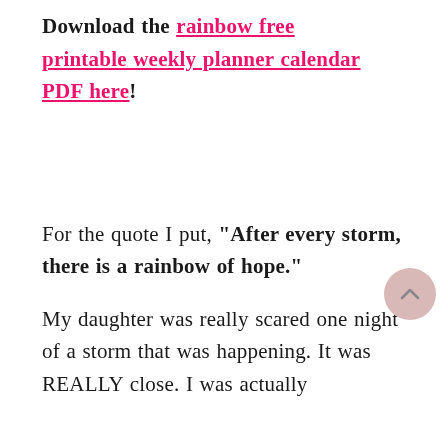Download the rainbow free printable weekly planner calendar PDF here!
For the quote I put, "After every storm, there is a rainbow of hope."
My daughter was really scared one night of a storm that was happening. It was REALLY close. I was actually